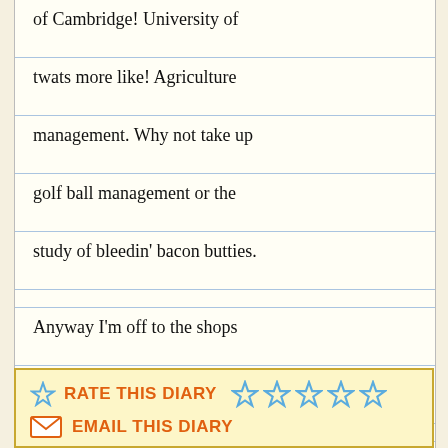of Cambridge! University of twats more like! Agriculture management. why not take up golf ball management or the study of bleedin' bacon butties.
Anyway I'm off to the shops we've almost ran out of milk
Ta'ra
RATE THIS DIARY
EMAIL THIS DIARY